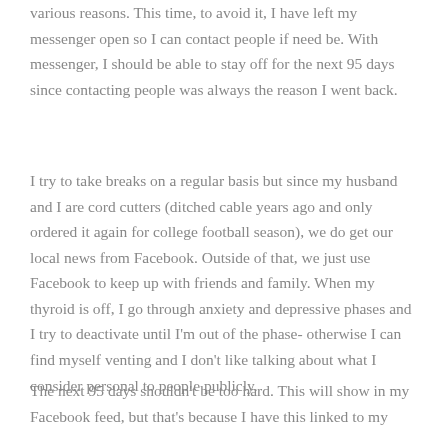various reasons. This time, to avoid it, I have left my messenger open so I can contact people if need be. With messenger, I should be able to stay off for the next 95 days since contacting people was always the reason I went back.
I try to take breaks on a regular basis but since my husband and I are cord cutters (ditched cable years ago and only ordered it again for college football season), we do get our local news from Facebook. Outside of that, we just use Facebook to keep up with friends and family. When my thyroid is off, I go through anxiety and depressive phases and I try to deactivate until I'm out of the phase- otherwise I can find myself venting and I don't like talking about what I consider personal to people publicly.
The next 95 days shouldn't be too hard. This will show in my Facebook feed, but that's because I have this linked to my